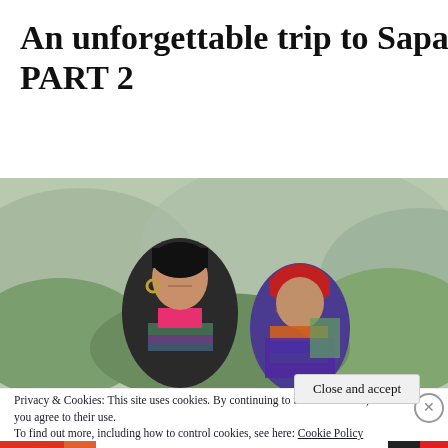An unforgettable trip to Sapa PART 2
[Figure (photo): Two women in traditional colorful hill-tribe clothing standing outdoors with green misty mountain scenery behind them.]
Privacy & Cookies: This site uses cookies. By continuing to use this website, you agree to their use.
To find out more, including how to control cookies, see here: Cookie Policy
Close and accept